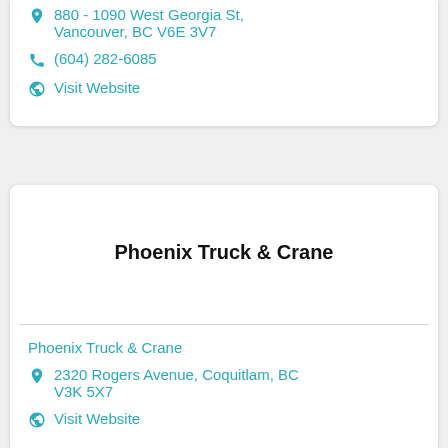880 - 1090 West Georgia St, Vancouver, BC V6E 3V7
(604) 282-6085
Visit Website
Phoenix Truck & Crane
Phoenix Truck & Crane
2320 Rogers Avenue, Coquitlam, BC V3K 5X7
Visit Website